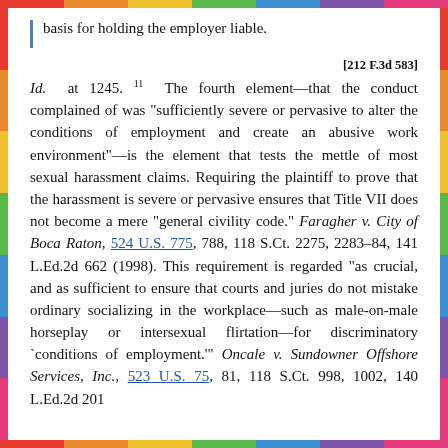basis for holding the employer liable.
[212 F.3d 583]
Id. at 1245. 11 The fourth element—that the conduct complained of was "sufficiently severe or pervasive to alter the conditions of employment and create an abusive work environment"—is the element that tests the mettle of most sexual harassment claims. Requiring the plaintiff to prove that the harassment is severe or pervasive ensures that Title VII does not become a mere "general civility code." Faragher v. City of Boca Raton, 524 U.S. 775, 788, 118 S.Ct. 2275, 2283–84, 141 L.Ed.2d 662 (1998). This requirement is regarded "as crucial, and as sufficient to ensure that courts and juries do not mistake ordinary socializing in the workplace—such as male-on-male horseplay or intersexual flirtation—for discriminatory `conditions of employment.'" Oncale v. Sundowner Offshore Services, Inc., 523 U.S. 75, 81, 118 S.Ct. 998, 1002, 140 L.Ed.2d 201